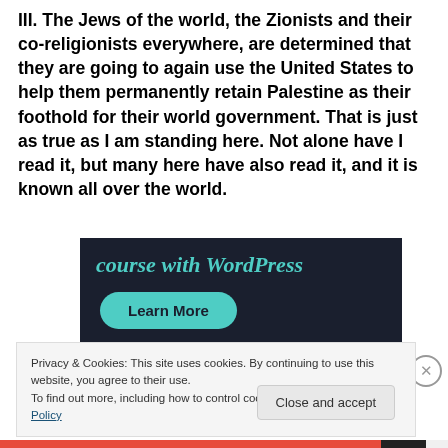III. The Jews of the world, the Zionists and their co-religionists everywhere, are determined that they are going to again use the United States to help them permanently retain Palestine as their foothold for their world government. That is just as true as I am standing here. Not alone have I read it, but many here have also read it, and it is known all over the world.
[Figure (screenshot): Dark advertisement banner showing 'course with WordPress' text in teal italic font on a dark navy background, with a teal rounded 'Learn More' button below.]
Privacy & Cookies: This site uses cookies. By continuing to use this website, you agree to their use.
To find out more, including how to control cookies, see here: Cookie Policy
Close and accept